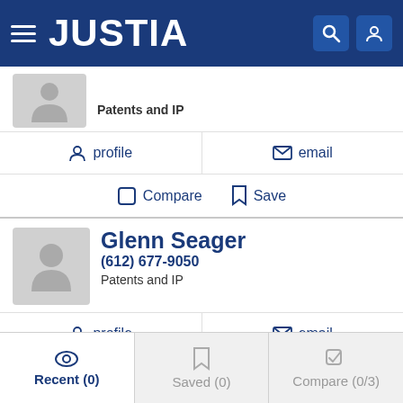JUSTIA
Patents and IP
profile  email
Compare  Save
Glenn Seager
(612) 677-9050
Patents and IP
profile  email
Compare  Save
Daniel John Belglazo
Recent (0)  Saved (0)  Compare (0/3)